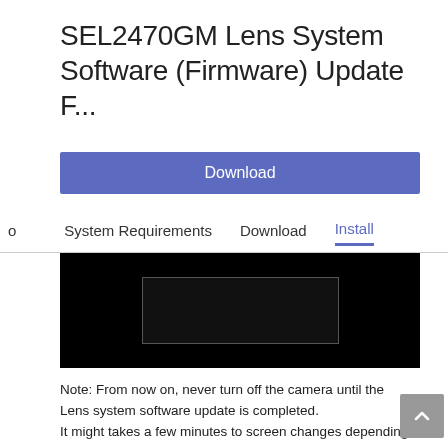SEL2470GM Lens System Software (Firmware) Update F...
Download
o   System Requirements   Download   Install
[Figure (screenshot): Black screenshot area showing a dark UI panel with an inner rectangle outline]
Note: From now on, never turn off the camera until the Lens system software update is completed.
It might takes a few minutes to screen changes depending on the camera model.
If the messsage "The update is not available for your model." appears, check if the system software file you're trying to install is the correct file for the lens which is